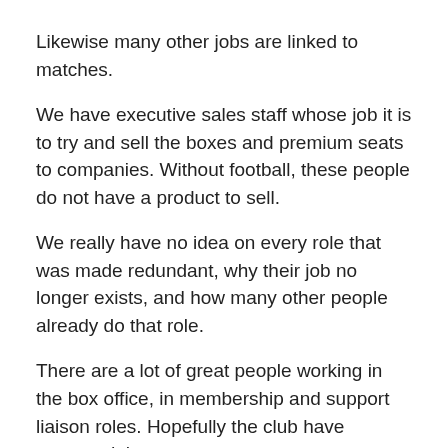Likewise many other jobs are linked to matches.
We have executive sales staff whose job it is to try and sell the boxes and premium seats to companies. Without football, these people do not have a product to sell.
We really have no idea on every role that was made redundant, why their job no longer exists, and how many other people already do that role.
There are a lot of great people working in the box office, in membership and support liaison roles. Hopefully the club have protected these.
There are also usually many older workers who would like redundancy. People who have been with the club decades and fancy a nice lay out and early retirement.